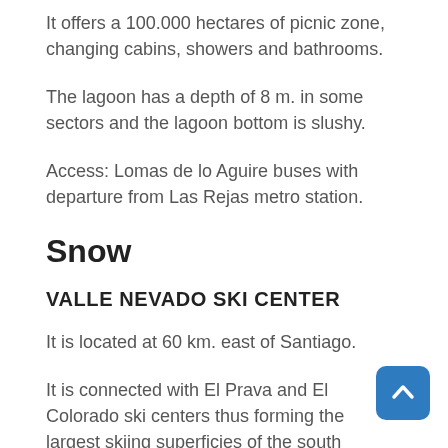It offers a 100.000 hectares of picnic zone, changing cabins, showers and bathrooms.
The lagoon has a depth of 8 m. in some sectors and the lagoon bottom is slushy.
Access: Lomas de lo Aguire buses with departure from Las Rejas metro station.
Snow
VALLE NEVADO SKI CENTER
It is located at 60 km. east of Santiago.
It is connected with El Prava and El Colorado ski centers thus forming the largest skiing superficies of the south hemisphere which is called “Los Tres Valles